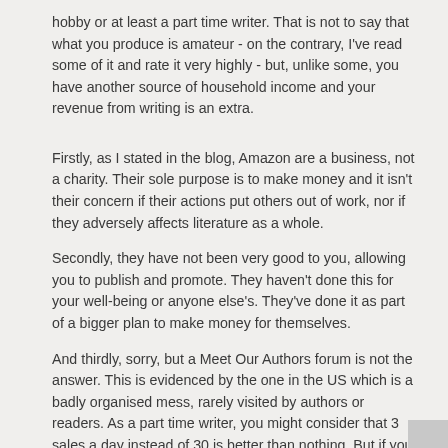hobby or at least a part time writer. That is not to say that what you produce is amateur - on the contrary, I've read some of it and rate it very highly - but, unlike some, you have another source of household income and your revenue from writing is an extra.
Firstly, as I stated in the blog, Amazon are a business, not a charity. Their sole purpose is to make money and it isn't their concern if their actions put others out of work, nor if they adversely affects literature as a whole.
Secondly, they have not been very good to you, allowing you to publish and promote. They haven't done this for your well-being or anyone else's. They've done it as part of a bigger plan to make money for themselves.
And thirdly, sorry, but a Meet Our Authors forum is not the answer. This is evidenced by the one in the US which is a badly organised mess, rarely visited by authors or readers. As a part time writer, you might consider that 3 sales a day instead of 30 is better than nothing. But if you were running a business, publishing others, you'd be bankrupt by now.